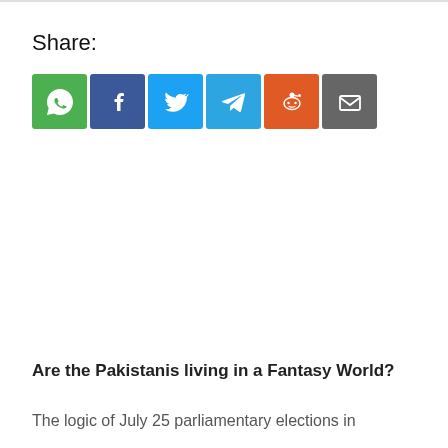Share:
[Figure (infographic): Six social sharing buttons in a row: WhatsApp (green), Facebook (dark blue), Twitter (light blue), Telegram (cyan-blue), Reddit (orange), Email (grey). Each button is a colored square with a white icon.]
Are the Pakistanis living in a Fantasy World?
The logic of July 25 parliamentary elections in